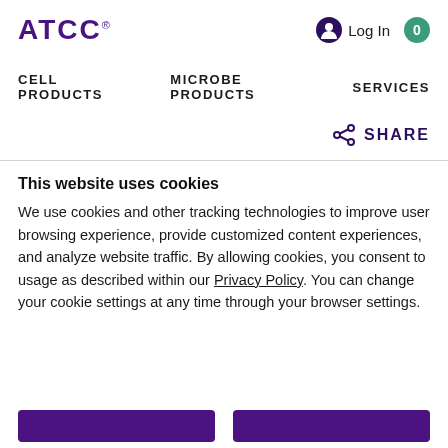ATCC
Log In
0
CELL PRODUCTS   MICROBE PRODUCTS   SERVICES
SHARE
This website uses cookies
We use cookies and other tracking technologies to improve user browsing experience, provide customized content experiences, and analyze website traffic. By allowing cookies, you consent to usage as described within our Privacy Policy. You can change your cookie settings at any time through your browser settings.